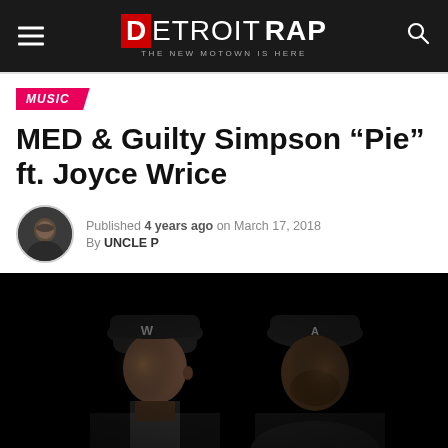DETROIT RAP — THE NEW MOTOWN IS HERE
MUSIC
MED & Guilty Simpson “Pie” ft. Joyce Wrice
Published 4 years ago on March 17, 2018
By UNCLE P
[Figure (photo): Dark moody photo of two men in baseball caps against a black background. Left figure wearing a Nationals cap, right figure wearing an Atlanta Braves cap, both photographed from the shoulders up with dramatic low-key lighting.]